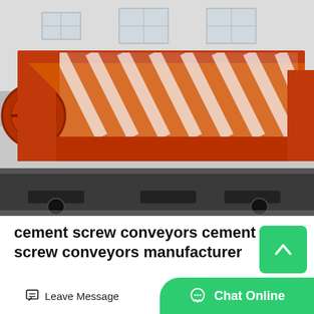[Figure (photo): Large orange industrial screw conveyor machine loaded on a flatbed truck, with a white industrial building in the background. The machine has a distinctive orange frame with diagonal bracing and a large flywheel visible on the left side.]
cement screw conveyors cement screw conveyors manufacturer
Nov 06, 2019 Screw Conveyor U T...